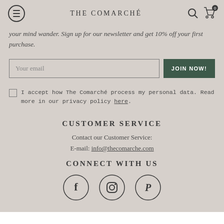THE COMARCHÉ
your mind wander. Sign up for our newsletter and get 10% off your first purchase.
Your email [input field] JOIN NOW!
I accept how The Comarché process my personal data. Read more in our privacy policy here.
CUSTOMER SERVICE
Contact our Customer Service:
E-mail: info@thecomarche.com
CONNECT WITH US
[Figure (illustration): Social media icons: Facebook, Instagram, Pinterest in circular outlines]